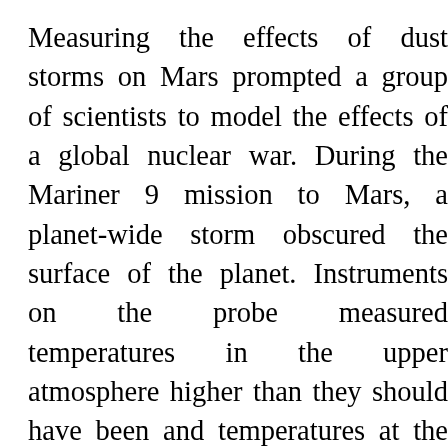Measuring the effects of dust storms on Mars prompted a group of scientists to model the effects of a global nuclear war. During the Mariner 9 mission to Mars, a planet-wide storm obscured the surface of the planet. Instruments on the probe measured temperatures in the upper atmosphere higher than they should have been and temperatures at the surface much lower than expected. Theoretical models at the time predicted that large amounts of debris would be lifted into the atmosphere during nuclear explosions that could block sunlight from reaching Earth for an extended period of time. Using the Martian data and the theoretical nuclear dust clouds, a group of 5 scientists (Richard Turco, Owen Toon, Thomas Ackerman, James Pollack and Carl Sagan) calculated the effect a dust shroud would have on our planet. They dubbed the phenomenon "Nuclear Winter" and used this information to